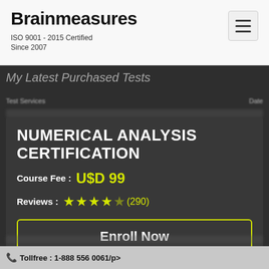Brainmeasures
ISO 9001 - 2015 Certified
Since 2007
My Latest Purchased Tests
NUMERICAL ANALYSIS CERTIFICATION
Course Fee : U$D 99
Reviews : ★★★★☆(290)
Enroll Now
Tollfree : 1-888 556 0061/p>